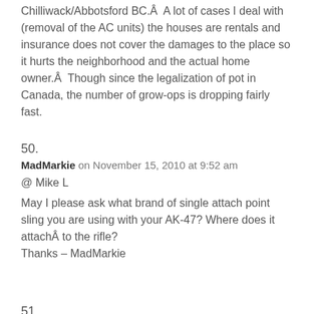Chilliwack/Abbotsford BC.Â  A lot of cases I deal with (removal of the AC units) the houses are rentals and insurance does not cover the damages to the place so it hurts the neighborhood and the actual home owner.Â  Though since the legalization of pot in Canada, the number of grow-ops is dropping fairly fast.
50.
MadMarkie on November 15, 2010 at 9:52 am
@ Mike L
May I please ask what brand of single attach point sling you are using with your AK-47? Where does it attachÂ to the rifle?
Thanks – MadMarkie
51.